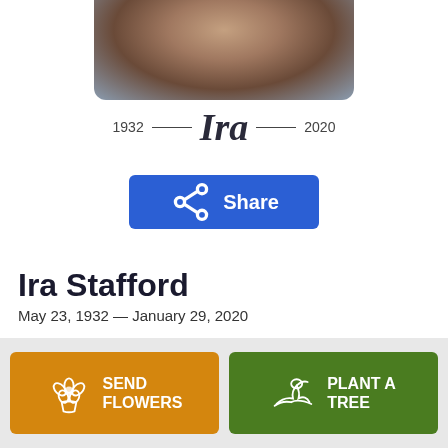[Figure (photo): Cropped portrait photo of a man, showing face and upper body, wearing plaid shirt]
1932 — Ira — 2020
Share
Ira Stafford
May 23, 1932 — January 29, 2020
SEND FLOWERS
PLANT A TREE